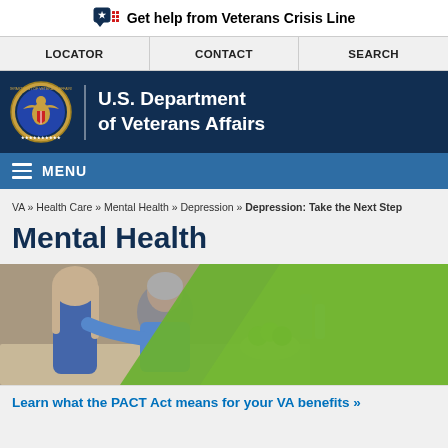Get help from Veterans Crisis Line
LOCATOR | CONTACT | SEARCH
[Figure (logo): U.S. Department of Veterans Affairs official seal and name header on dark navy background]
MENU
VA » Health Care » Mental Health » Depression » Depression: Take the Next Step
Mental Health
[Figure (photo): A woman comforting a man who appears distressed, seated at a kitchen counter with green apples in a bowl. A green diagonal graphic element overlaps the right side of the image.]
Learn what the PACT Act means for your VA benefits »